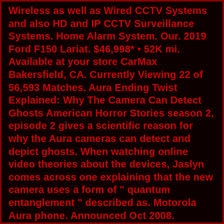Wireless as well as Wired CCTV Systems and also HD and IP CCTV Surveillance Systems. Home Alarm System. Our. 2019 Ford F150 Lariat. $46,998* • 52K mi. Available at your store CarMax Bakersfield, CA. Currently Viewing 22 of 56,593 Matches. Aura Ending Twist Explained: Why The Camera Can Detect Ghosts American Horror Stories season 2, episode 2 gives a scientific reason for why the Aura cameras can detect and depict ghosts. When watching online video theories about the devices, Jaslyn comes across one explaining that the new camera uses a form of " quantum entanglement " described as. Motorola Aura phone. Announced Oct 2008. Features 1.55" display, 2 MP primary camera, 810 mAh battery, 2 GB storage. Kirlian Camera - www.kirliancamera.com. NEW CONCERT. KIRLIAN CAMERA. 20 August 2022. Torgau (Germany) SPECTRA*paris NEW ALBUM. Available in two formats: 2CD Book in 36 pages including bonus CD. with 12 tracks - limited to 500 copies. Our aura imaging systems are biofeedback devices that render an individual's aura from precise human-